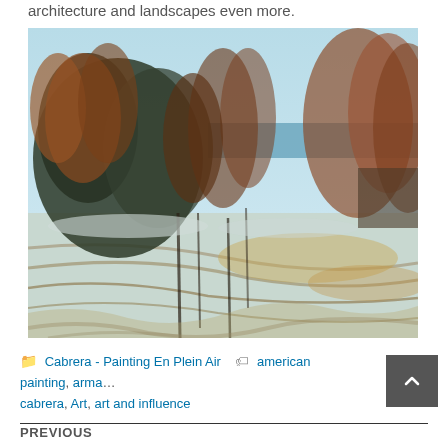architecture and landscapes even more.
[Figure (photo): An impressionist oil painting of a winter landscape with trees and a plowed field, rendered in earthy browns, greens, and blue-grey tones.]
Cabrera - Painting En Plein Air   american painting, arma... cabrera, Art, art and influence
PREVIOUS